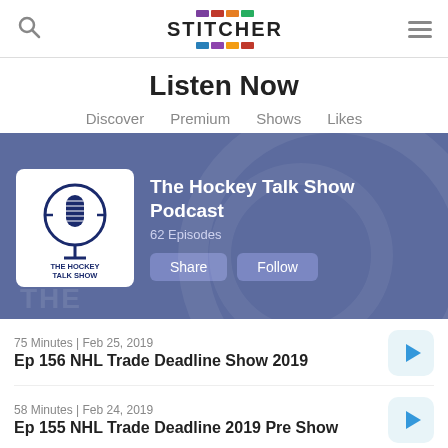Stitcher - Search and Hamburger menu
Listen Now
Discover   Premium   Shows   Likes
[Figure (screenshot): The Hockey Talk Show Podcast banner with logo, 62 Episodes, Share and Follow buttons on a blue-purple background]
75 Minutes | Feb 25, 2019
Ep 156 NHL Trade Deadline Show 2019
58 Minutes | Feb 24, 2019
Ep 155 NHL Trade Deadline 2019 Pre Show
29 Minutes | Oct 9, 2018
Gritty Is Everywhere!
52 Minutes | Oct 5, 2018